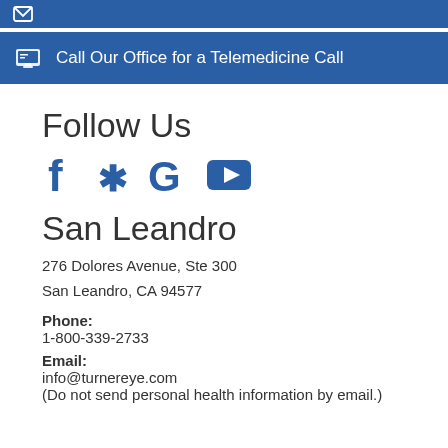[Figure (other): Blue banner bar at top (partial, cut off) with a small white icon]
[Figure (other): Blue banner with white printer/fax icon and text: Call Our Office for a Telemedicine Call]
Follow Us
[Figure (other): Social media icons: Facebook (f), Yelp (asterisk/flower), Google (G), YouTube (play button) — all in dark blue]
San Leandro
276 Dolores Avenue, Ste 300
San Leandro, CA 94577
Phone:
1-800-339-2733
Email:
info@turnereye.com
(Do not send personal health information by email.)